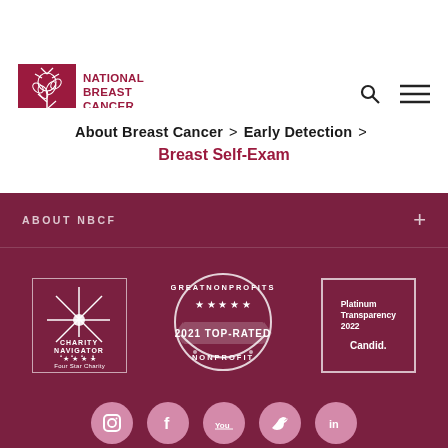[Figure (logo): National Breast Cancer Foundation, Inc. logo with red flower/plant icon and red text on white background]
About Breast Cancer > Early Detection > Breast Self-Exam
[Figure (infographic): Footer section with dark red/maroon background containing ABOUT NBCF expandable section, three certification badges (Charity Navigator Four Star Charity, GreatNonprofits 2021 Top-Rated Nonprofit, Platinum Transparency 2022 Candid), and social media icons at bottom]
ABOUT NBCF